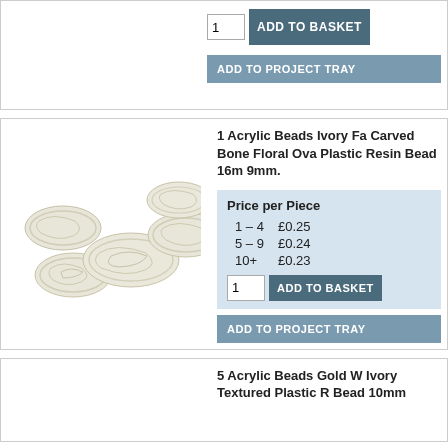[Figure (screenshot): Top partial product block showing quantity input '1' and ADD TO BASKET button, with ADD TO PROJECT TRAY button below]
[Figure (photo): Five ivory/cream colored oval acrylic beads with carved floral/swirl pattern]
1 Acrylic Beads Ivory Fa Carved Bone Floral Ova Plastic Resin Bead 16m 9mm.
| Price per Piece |  |
| --- | --- |
| 1 – 4 | £0.25 |
| 5 – 9 | £0.24 |
| 10+ | £0.23 |
[Figure (screenshot): Quantity input '1' and ADD TO BASKET button]
[Figure (screenshot): ADD TO PROJECT TRAY button]
5 Acrylic Beads Gold W Ivory Textured Plastic R Bead 10mm